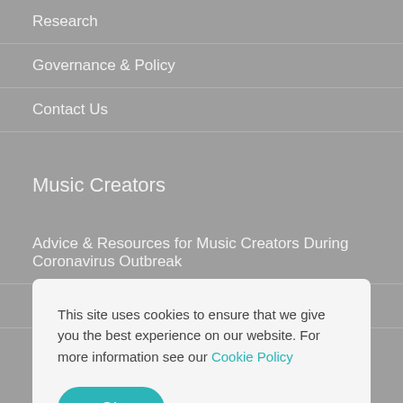Research
Governance & Policy
Contact Us
Music Creators
Advice & Resources for Music Creators During Coronavirus Outbreak
Join IMRO
This site uses cookies to ensure that we give you the best experience on our website. For more information see our Cookie Policy
Ok
Competitions & Opportunities